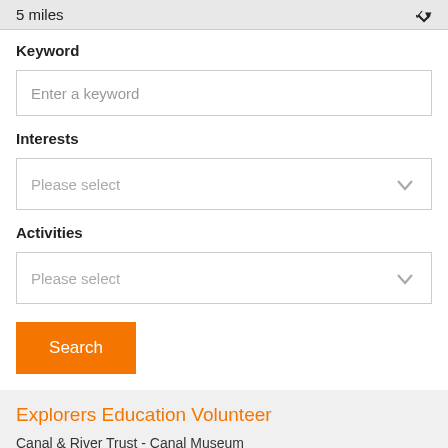5 miles
Keyword
Enter a keyword
Interests
Please select
Activities
Please select
Search
Explorers Education Volunteer
Canal & River Trust - Canal Museum